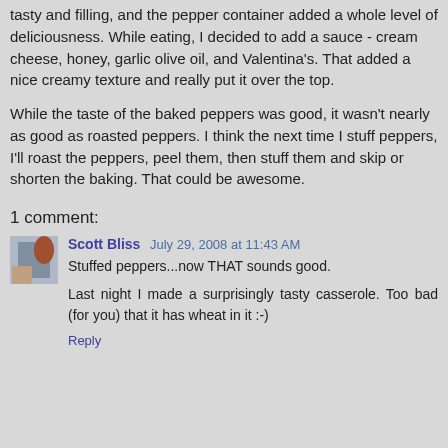tasty and filling, and the pepper container added a whole level of deliciousness. While eating, I decided to add a sauce - cream cheese, honey, garlic olive oil, and Valentina's. That added a nice creamy texture and really put it over the top.
While the taste of the baked peppers was good, it wasn't nearly as good as roasted peppers. I think the next time I stuff peppers, I'll roast the peppers, peel them, then stuff them and skip or shorten the baking. That could be awesome.
1 comment:
Scott Bliss  July 29, 2008 at 11:43 AM
Stuffed peppers...now THAT sounds good.
Last night I made a surprisingly tasty casserole. Too bad (for you) that it has wheat in it :-)
Reply